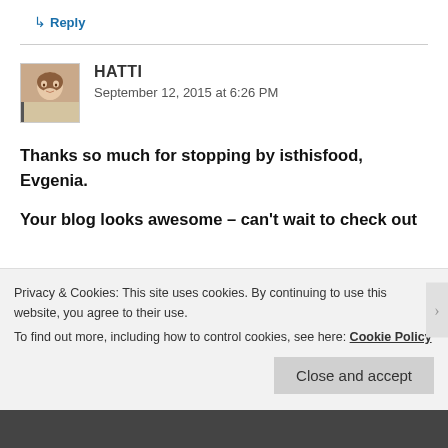↳ Reply
HATTI
September 12, 2015 at 6:26 PM
Thanks so much for stopping by isthisfood, Evgenia.
Your blog looks awesome – can't wait to check out
Privacy & Cookies: This site uses cookies. By continuing to use this website, you agree to their use.
To find out more, including how to control cookies, see here: Cookie Policy
Close and accept